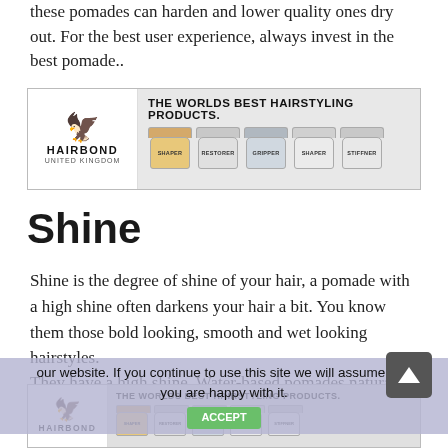these pomades can harden and lower quality ones dry out. For the best user experience, always invest in the best pomade..
[Figure (photo): Hairbond United Kingdom advertisement banner showing logo with eagle and row of hair product jars with tagline THE WORLDS BEST HAIRSTYLING PRODUCTS.]
Shine
Shine is the degree of shine of your hair, a pomade with a high shine often darkens your hair a bit. You know them those bold looking, smooth and wet looking hairstyles.
They have a high shine. Water-based pomades naturally have a higher shine than oil-based pomades. The shine properties are increased through all kinds of additions of natural oils, so that even wet look effects can be achieved.
our website. If you continue to use this site we will assume that you are happy with it.
[Figure (photo): Second Hairbond United Kingdom advertisement banner at bottom of page showing logo with eagle and row of hair product jars with tagline THE WORLDS BEST HAIRSTYLING PRODUCTS.]